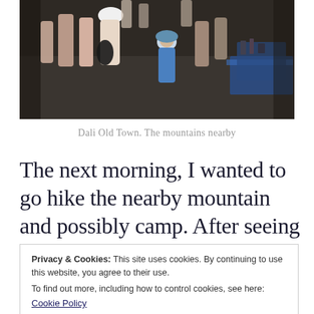[Figure (photo): Street market scene at Dali Old Town with a crowd of people, a young girl in a blue hat and dress visible in the center, market stalls with blue tablecloths on the right]
Dali Old Town. The mountains nearby
The next morning, I wanted to go hike the nearby mountain and possibly camp. After seeing the forecast for the
Privacy & Cookies: This site uses cookies. By continuing to use this website, you agree to their use.
To find out more, including how to control cookies, see here:
Cookie Policy
Close and accept
After asking, the boss at the hostel told